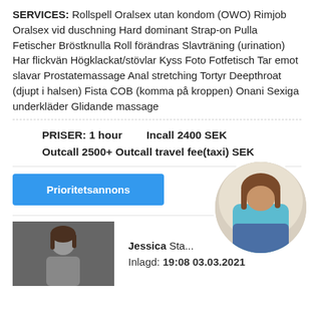SERVICES: Rollspell Oralsex utan kondom (OWO) Rimjob Oralsex vid duschning Hard dominant Strap-on Pulla Fetischer Bröstknulla Roll förändras Slavträning (urination) Har flickvän Högklackat/stövlar Kyss Foto Fotfetisch Tar emot slavar Prostatemassage Anal stretching Tortyr Deepthroat (djupt i halsen) Fista COB (komma på kroppen) Onani Sexiga underkläder Glidande massage
PRISER: 1 hour    Incall 2400 SEK
Outcall 2500+ Outcall travel fee(taxi) SEK
Prioritetsannons
[Figure (photo): Circular cropped photo of a woman in a teal top and denim shorts, viewed from behind/side]
[Figure (photo): Photo of a woman with dark hair against a grey background, partially visible]
Jessica Sta...
Inlagd: 19:08 03.03.2021